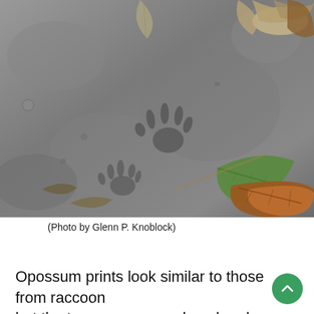[Figure (photo): Close-up photograph of opossum tracks pressed into wet mud or soft soil, surrounded by fallen leaves including a green leaf and brown autumn leaves. The tracks show spread toes characteristic of opossum prints.]
(Photo by Glenn P. Knoblock)
Opossum prints look similar to those from raccoons but the toes are more splayed and widespread. They